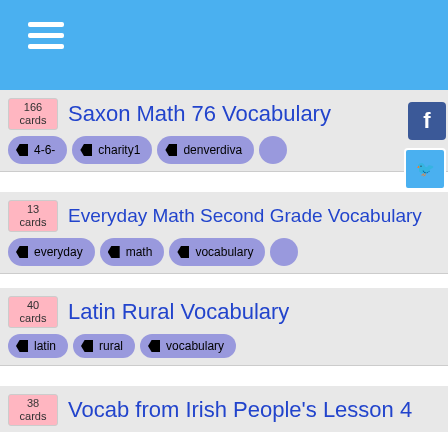Navigation menu header bar
166 cards - Saxon Math 76 Vocabulary - tags: 4-6-, charity1, denverdiva
13 cards - Everyday Math Second Grade Vocabulary - tags: everyday, math, vocabulary
40 cards - Latin Rural Vocabulary - tags: latin, rural, vocabulary
38 cards - Vocab from Irish People's Lesson 4 - tags: gaelic, irish, irishpeoplesless
15 cards - Vocab from Irish People's Lesson 5 - tags: gaelic, irish, irishpeoplesless
250 cards - Greek Vocabulary 2 - tags: greek, nybakken, scientific
250 cards - CP Final